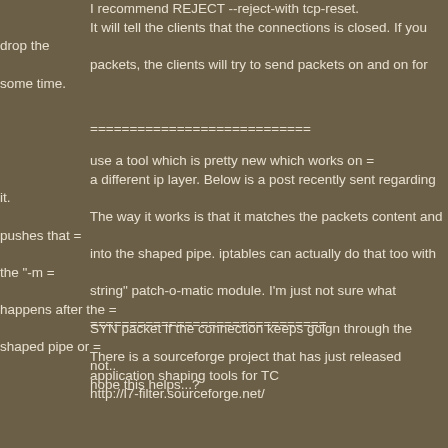I recommend REJECT --reject-with tcp-reset.
It will tell the clients that the connections is closed. If you drop the
packets, the clients will try to send packets on and on for some time.
============================
use a tool which is pretty new which works on =
a different ip layer. Below is a post recently sent regarding it.
The way it works is that it matches the packets content and pushes that =
into the shaped pipe. iptables can actually do that too with the "-m =
string" patch-o-matic module. I'm just not sure what happens after the =
SYN packet if the connection keeps goign through the shaped pipe or =
not..
hope this helps...?
==============================
There is a sourceforge project that has just released
application shaping tools for TC
http://l7-filter.sourceforge.net/